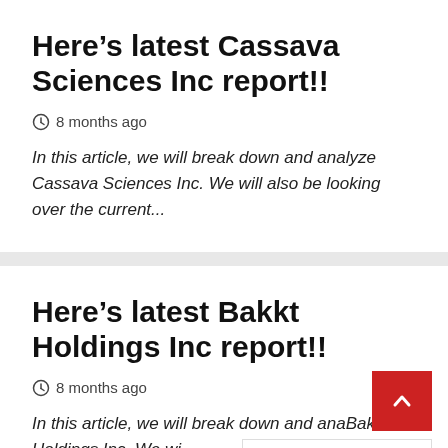Here’s latest Cassava Sciences Inc report!!
8 months ago
In this article, we will break down and analyze Cassava Sciences Inc. We will also be looking over the current…
Here’s latest Bakkt Holdings Inc report!!
8 months ago
In this article, we will break down and analyze Bakkt Holdings Inc. We wi…